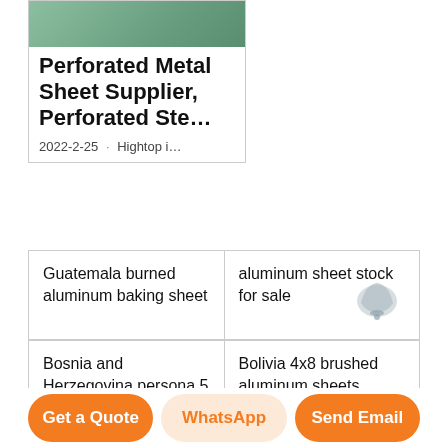[Figure (photo): Green/teal colored metal sheet surface photo]
Perforated Metal Sheet Supplier, Perforated Ste…
2022-2-25 · Hightop i…
| Guatemala burned aluminum baking sheet | aluminum sheet stock for sale |
| Bosnia and Herzegovina persona 5 where to find aluminum sheets and | Bolivia 4x8 brushed aluminum sheets |
Get a Quote
WhatsApp
Send Email